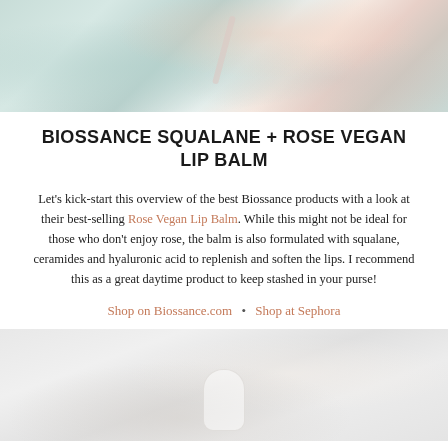[Figure (photo): Top portion of a product photo showing what appears to be a lip balm or skincare product with water/crystal background in teal and pink tones]
BIOSSANCE SQUALANE + ROSE VEGAN LIP BALM
Let’s kick-start this overview of the best Biossance products with a look at their best-selling Rose Vegan Lip Balm. While this might not be ideal for those who don’t enjoy rose, the balm is also formulated with squalane, ceramides and hyaluronic acid to replenish and soften the lips. I recommend this as a great daytime product to keep stashed in your purse!
Shop on Biossance.com • Shop at Sephora
[Figure (photo): Bottom portion showing a light grey/white background with a skincare product container partially visible at the bottom]